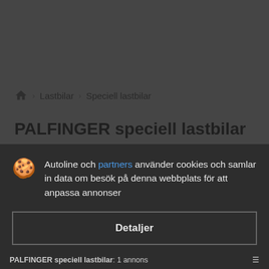Lastbilar › Speciell lastbilar
PALFINGER speciell lastbilar
[Figure (screenshot): Cookie consent dialog overlay on an Autoline vehicle listing page. The dialog shows a cookie icon, text in Swedish about Autoline and partners using cookies, a 'Detaljer' (Details) button, and an 'Acceptera och stäng' (Accept and close) button.]
PALFINGER speciell lastbilar: 1 annons